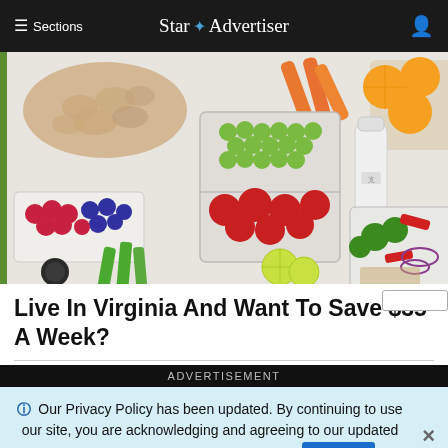≡ Sections   Star ✦ Advertiser
[Figure (photo): Overhead flat-lay photo of meal prep containers with grapes, tomatoes, mixed berries, salad with red onions and broccoli, pasta, carrots, oranges, celery, lime slices, and a white thermos/bottle on a light surface. Green accent bar on left edge.]
Live In Virginia And Want To Save $35 A Week?
ADVERTISEMENT
ⓘ Our Privacy Policy has been updated. By continuing to use our site, you are acknowledging and agreeing to our updated Privacy Policy and our Terms of Service. I Agree